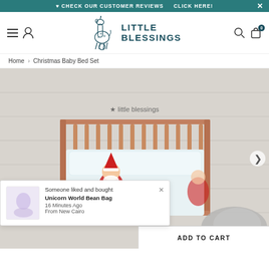♥ CHECK OUR CUSTOMER REVIEWS   CLICK HERE!
[Figure (logo): Little Blessings logo with giraffe on ball illustration and brand name text]
Home › Christmas Baby Bed Set
[Figure (photo): Christmas baby bed set in a wooden crib with Santa Claus print bedding, grey fluffy rug beside. Little blessings logo watermark visible. Popup notification: Someone liked and bought Unicorn World Bean Bag, 16 Minutes Ago, From New Cairo. Add to Cart button at bottom right.]